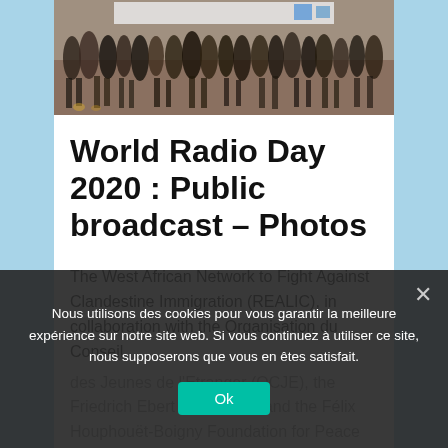[Figure (photo): Group of people standing outdoors, seen from the waist down, on a dirt/gravel ground. A banner is visible at the top.]
World Radio Day 2020 : Public broadcast – Photos
The West African Network to Fight Against Clandestine Immigration (REALIC), in collaboration with the Organisation du Conseil des Jeunes de l'Etranger (OCJE), the Friedrich Ebert Foundation and the Félix Houphouët-Boigny Foundation for Peace Research (FHB Foundation), organised the 2020 edition of
Nous utilisons des cookies pour vous garantir la meilleure expérience sur notre site web. Si vous continuez à utiliser ce site, nous supposerons que vous en êtes satisfait.
Ok